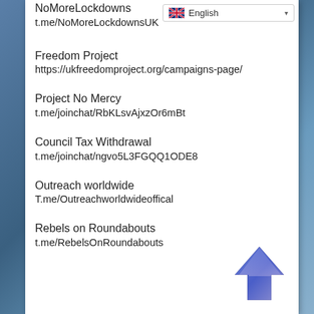NoMoreLockdowns
t.me/NoMoreLockdownsUK
English
Freedom Project
https://ukfreedomproject.org/campaigns-page/
Project No Mercy
t.me/joinchat/RbKLsvAjxzOr6mBt
Council Tax Withdrawal
t.me/joinchat/ngvo5L3FGQQ1ODE8
Outreach worldwide
T.me/Outreachworldwideoffical
Rebels on Roundabouts
t.me/RebelsOnRoundabouts
[Figure (illustration): Blue upward-pointing arrow icon]